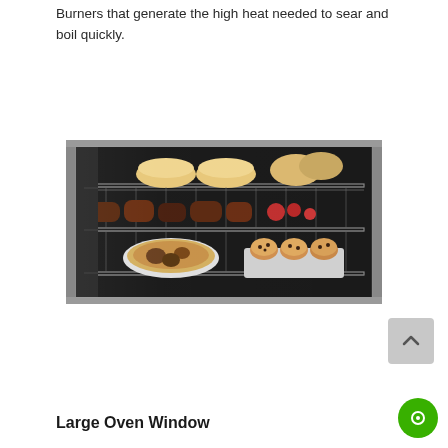Burners that generate the high heat needed to sear and boil quickly.
[Figure (photo): Interior view of an oven with three racks loaded with food: top rack has round buns/rolls, middle rack has sausages/meats, bottom rack has a round pie dish and muffin/cupcake tray.]
Large Oven Window